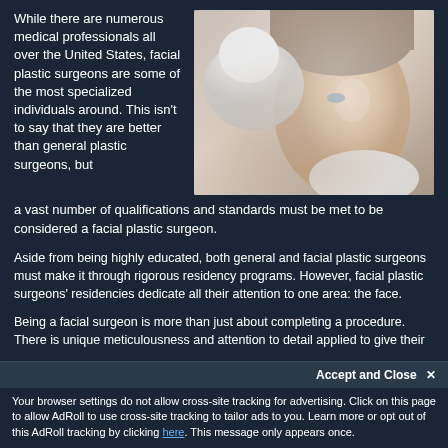While there are numerous medical professionals all over the United States, facial plastic surgeons are some of the most specialized individuals around. This isn't to say that they are better than general plastic surgeons, but a vast number of qualifications and standards must be met to be considered a facial plastic surgeon.
[Figure (photo): A woman's face being examined by gloved hands, representing facial plastic surgery consultation]
Aside from being highly educated, both general and facial plastic surgeons must make it through rigorous residency programs. However, facial plastic surgeons' residencies dedicate all their attention to one area: the face.
Being a facial surgeon is more than just about completing a procedure. There is unique meticulousness and attention to detail applied to give their patients beautiful results that appear natural to the naked eye.
Accept and Close ✕
Your browser settings do not allow cross-site tracking for advertising. Click on this page to allow AdRoll to use cross-site tracking to tailor ads to you. Learn more or opt out of this AdRoll tracking by clicking here. This message only appears once.